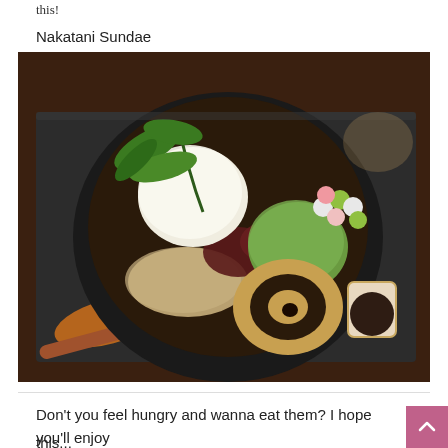this!
Nakatani Sundae
[Figure (photo): A Japanese sundae (Nakatani Sundae) served in a black bowl on a dark slate tray. The bowl contains matcha ice cream, white ice cream, mochi balls in green and pink, red bean paste, kinako (roasted soybean flour) dusted mochi, and a round sesame-coated donut-shaped sweet. A wooden spoon rests on the tray to the left, and a small ceramic pitcher with dark sauce sits to the right.]
Don't you feel hungry and wanna eat them? I hope you'll enjoy
this...